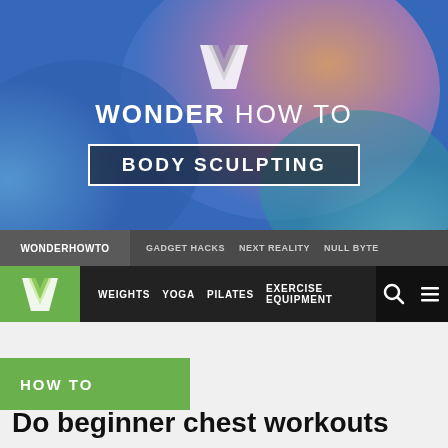[Figure (illustration): WonderHowTo hero banner with colorful gradient background (blue, orange, teal), white geometric W logo icon, 'WONDER HOW TO' text in white, and 'BODY SCULPTING' text in a white-bordered box]
WONDERHOWTO   GADGET HACKS   NEXT REALITY   NULL BYTE
WEIGHTS   YOGA   PILATES   EXERCISE EQUIPMENT
HOW TO
Do beginner chest workouts